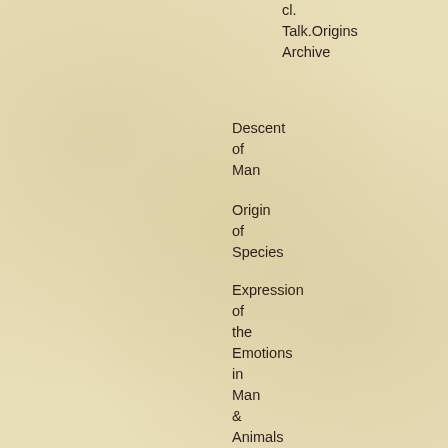cl.
Talk.Origins
Archive
Descent
of
Man
Origin
of
Species
Expression
of
the
Emotions
in
Man
&
Animals
Voyage
of
the
Beagle
Henry Maine
Ancient
Law